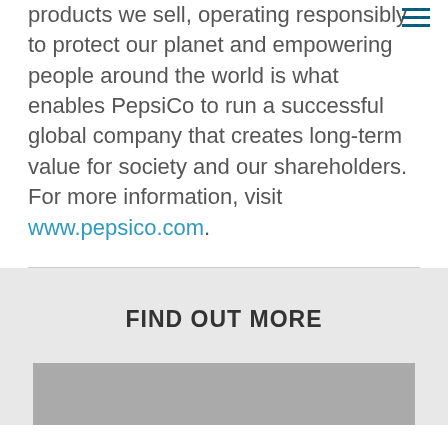products we sell, operating responsibly to protect our planet and empowering people around the world is what enables PepsiCo to run a successful global company that creates long-term value for society and our shareholders. For more information, visit www.pepsico.com.
FIND OUT MORE
[Figure (photo): Partially visible image placeholder at bottom of page]